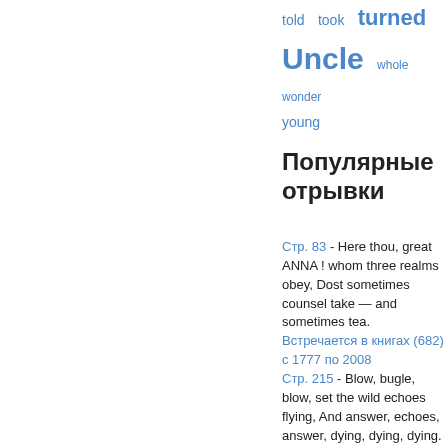told   took   turned
Uncle   whole   wonder
young
Популярные отрывки
Стр. 83 - Here thou, great ANNA ! whom three realms obey, Dost sometimes counsel take — and sometimes tea.
Встречается в книгах (682) с 1777 по 2008
Стр. 215 - Blow, bugle, blow, set the wild echoes flying, And answer, echoes, answer, dying, dying, dying.
Встречается в книгах